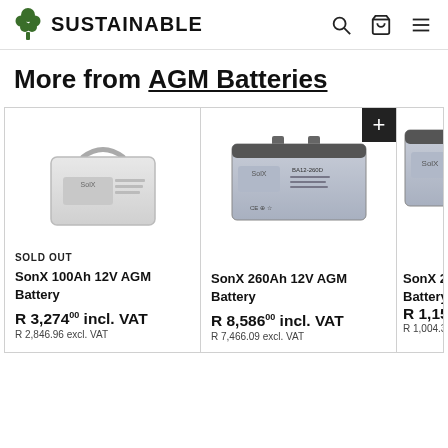SUSTAINABLE
More from AGM Batteries
[Figure (photo): SonX 100Ah 12V AGM Battery product photo - white rectangular battery with handle]
SOLD OUT
SonX 100Ah 12V AGM Battery
R 3,274.00 incl. VAT
R 2,846.96 excl. VAT
[Figure (photo): SonX 260Ah 12V AGM Battery product photo - grey rectangular battery]
SonX 260Ah 12V AGM Battery
R 8,586.00 incl. VAT
R 7,466.09 excl. VAT
[Figure (photo): SonX 260Ah battery partially visible at right edge]
SonX 26...Battery
R 1,15...
R 1,004.3...